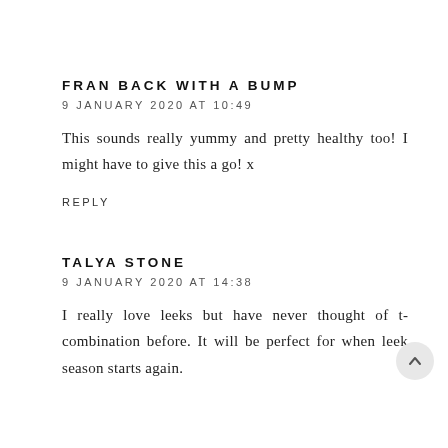FRAN BACK WITH A BUMP
9 JANUARY 2020 AT 10:49
This sounds really yummy and pretty healthy too! I might have to give this a go! x
REPLY
TALYA STONE
9 JANUARY 2020 AT 14:38
I really love leeks but have never thought of this combination before. It will be perfect for when leek season starts again.